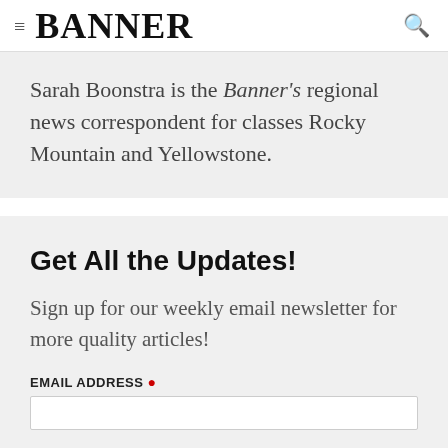≡ BANNER 🔍
Sarah Boonstra is the Banner's regional news correspondent for classes Rocky Mountain and Yellowstone.
Get All the Updates!
Sign up for our weekly email newsletter for more quality articles!
EMAIL ADDRESS *